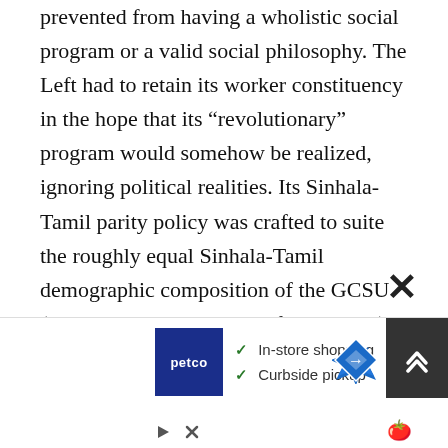prevented from having a wholistic social program or a valid social philosophy. The Left had to retain its worker constituency in the hope that its “revolutionary” program would somehow be realized, ignoring political realities. Its Sinhala-Tamil parity policy was crafted to suite the roughly equal Sinhala-Tamil demographic composition of the GCSU (its perceived instrument of revolution) and NOT because of claimed high principles; it gave those up as soon as it entered the SLFP govt and crafted the 1972 constitution of Colvin.
[Figure (screenshot): Advertisement banner for Petco showing logo, checkmarks for 'In-store shopping' and 'Curbside pickup', a map navigation icon, a close (X) button, and a scroll-up button.]